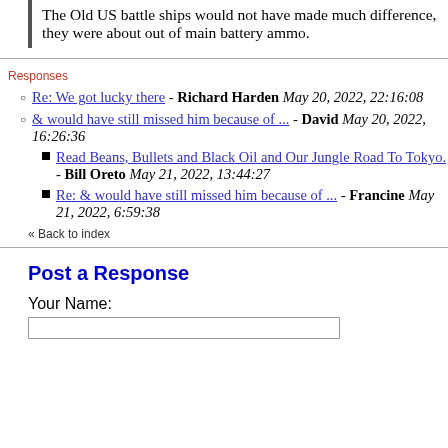The Old US battle ships would not have made much difference, they were about out of main battery ammo.
Responses
Re: We got lucky there - Richard Harden May 20, 2022, 22:16:08
& would have still missed him because of ... - David May 20, 2022, 16:26:36
Read Beans, Bullets and Black Oil and Our Jungle Road To Tokyo. - Bill Oreto May 21, 2022, 13:44:27
Re: & would have still missed him because of ... - Francine May 21, 2022, 6:59:38
« Back to index
Post a Response
Your Name: